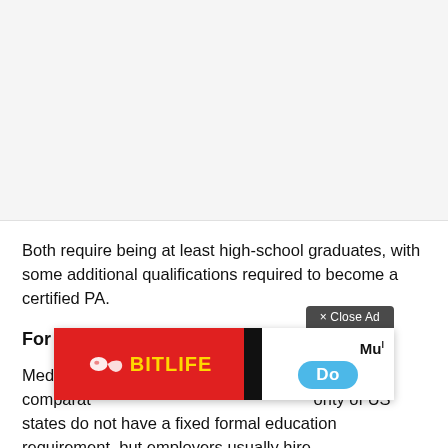[Figure (other): White/light gray blank area at the top of the page, representing empty space above article content]
Both require being at least high-school graduates, with some additional qualifications required to become a certified PA.
For Medical Assistants
Medical a[ssistants are comparatively] Mu[ch easier...] [maj]ority of US states do not have a fixed formal education requirement, but employers usually hire
[Figure (other): Advertisement overlay showing BitLife app ad with 'x Close Ad' button, red BitLife banner with sperm logo and yellow text, black stripe, and blue 'Do' button on white background]